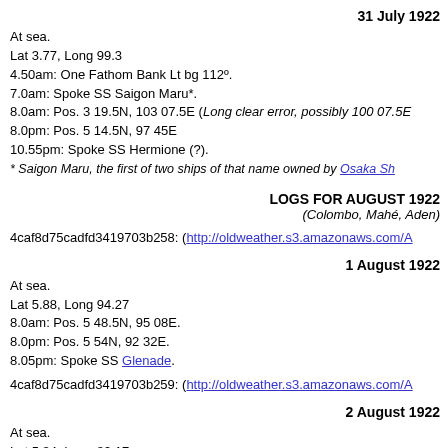31 July 1922
At sea.
Lat 3.77, Long 99.3
4.50am: One Fathom Bank Lt bg 112°.
7.0am: Spoke SS Saigon Maru*.
8.0am: Pos. 3 19.5N, 103 07.5E (Long clear error, possibly 100 07.5E
8.0pm: Pos. 5 14.5N, 97 45E
10.55pm: Spoke SS Hermione (?).
* Saigon Maru, the first of two ships of that name owned by Osaka Sh
LOGS FOR AUGUST 1922
(Colombo, Mahé, Aden)
4caf8d75cadfd3419703b258: (http://oldweather.s3.amazonaws.com/A
1 August 1922
At sea.
Lat 5.88, Long 94.27
8.0am: Pos. 5 48.5N, 95 08E.
8.0pm: Pos. 5 54N, 92 32E.
8.05pm: Spoke SS Glenade.
4caf8d75cadfd3419703b259: (http://oldweather.s3.amazonaws.com/A
2 August 1922
At sea.
Lat 5.84, Long 89.17
1.30am: Spoke SS Tracia*.
8.0am: Pos. 5 53N, 90 00E